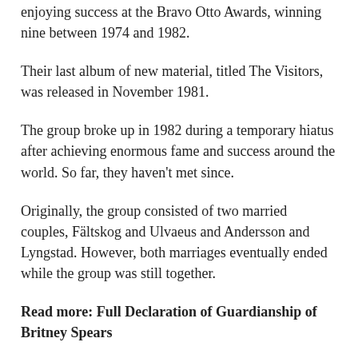enjoying success at the Bravo Otto Awards, winning nine between 1974 and 1982.
Their last album of new material, titled The Visitors, was released in November 1981.
The group broke up in 1982 during a temporary hiatus after achieving enormous fame and success around the world. So far, they haven't met since.
Originally, the group consisted of two married couples, Fältskog and Ulvaeus and Andersson and Lyngstad. However, both marriages eventually ended while the group was still together.
Read more: Full Declaration of Guardianship of Britney Spears
In 1999 ABBA's music was adapted into a musical Mom Mia!, which has received worldwide acclaim. A sequel was released in 2018,